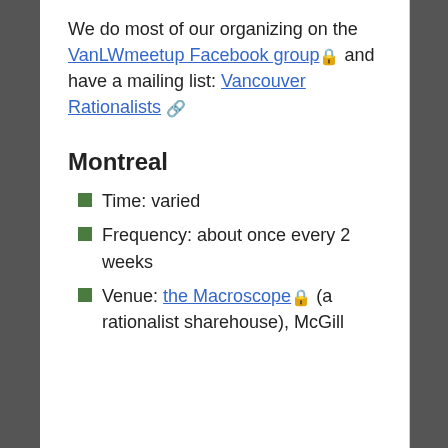We do most of our organizing on the VanLWmeetup Facebook group 🔒 and have a mailing list: Vancouver Rationalists 🔗
Montreal
Time: varied
Frequency: about once every 2 weeks
Venue: the Macroscope 🔒 (a rationalist sharehouse), McGill